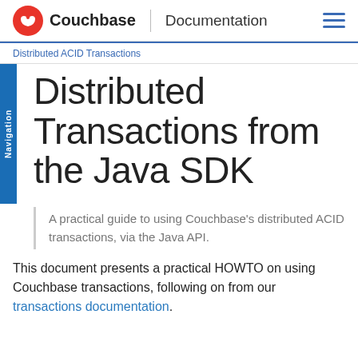Couchbase | Documentation
Distributed ACID Transactions
Distributed Transactions from the Java SDK
A practical guide to using Couchbase's distributed ACID transactions, via the Java API.
This document presents a practical HOWTO on using Couchbase transactions, following on from our transactions documentation.